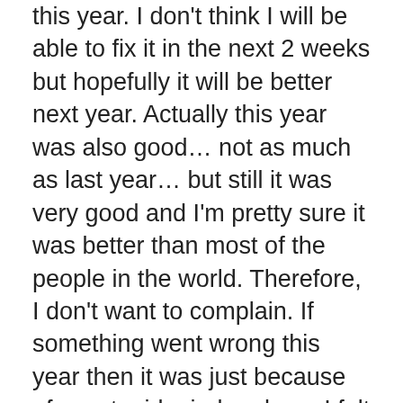this year. I don't think I will be able to fix it in the next 2 weeks but hopefully it will be better next year. Actually this year was also good… not as much as last year… but still it was very good and I'm pretty sure it was better than most of the people in the world. Therefore, I don't want to complain. If something went wrong this year then it was just because of my stupid mind and me. I felt little alienated even though I was around people most of the time. Isn't it funny 'coz you are not alone most the time but still you feel lonely at times.
Sometimes I wonder why people think too much about themselves & people around them. I have heard that few ppl can blank out their mind and be in that state. I wish if I could do that at times. I hate when there is a rush of thoughts especially with a lota ???????? for which I don't have any answers. Is it just me??? lol I hope not :D…